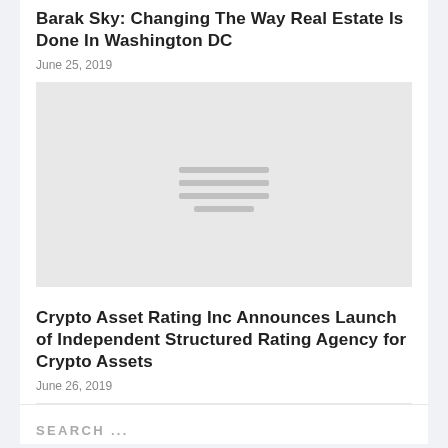Barak Sky: Changing The Way Real Estate Is Done In Washington DC
June 25, 2019
[Figure (photo): Placeholder image for article about Barak Sky real estate in Washington DC]
Crypto Asset Rating Inc Announces Launch of Independent Structured Rating Agency for Crypto Assets
June 26, 2019
SEARCH ...